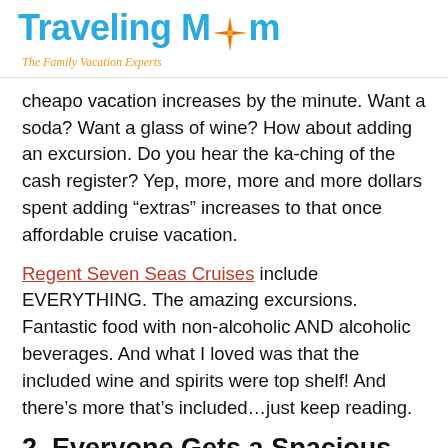TravelingMom — The Family Vacation Experts
cheapo vacation increases by the minute.  Want a soda? Want a glass of wine?  How about adding an excursion.  Do you hear the ka-ching of the cash register?  Yep, more, more and more dollars spent adding “extras” increases to that once affordable cruise vacation.
Regent Seven Seas Cruises include EVERYTHING. The amazing excursions. Fantastic food with non-alcoholic AND alcoholic beverages.  And what I loved was that the included wine and spirits were top shelf!  And there’s more that’s included…just keep reading.
2. Everyone Gets a Spacious Suite!